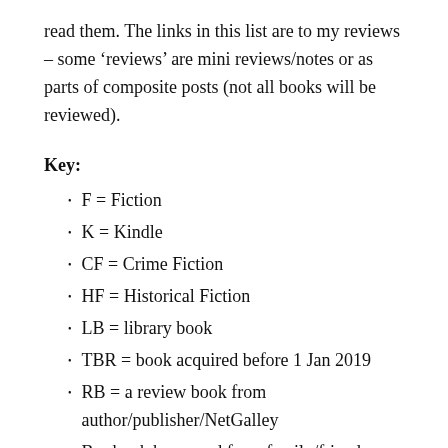read them. The links in this list are to my reviews – some ‘reviews’ are mini reviews/notes or as parts of composite posts (not all books will be reviewed).
Key:
F = Fiction
K = Kindle
CF = Crime Fiction
HF = Historical Fiction
LB = library book
TBR = book acquired before 1 Jan 2019
RB = a review book from author/publisher/NetGalley
B = book borrowed from family/friends